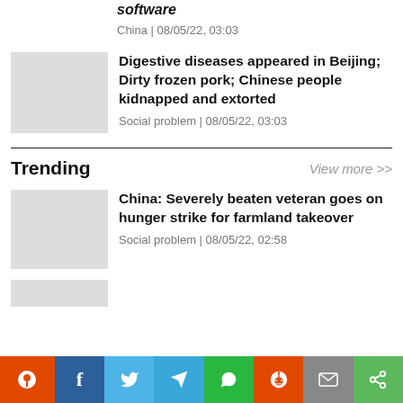software
China | 08/05/22, 03:03
Digestive diseases appeared in Beijing; Dirty frozen pork; Chinese people kidnapped and extorted
Social problem | 08/05/22, 03:03
Trending
View more >>
China: Severely beaten veteran goes on hunger strike for farmland takeover
Social problem | 08/05/22, 02:58